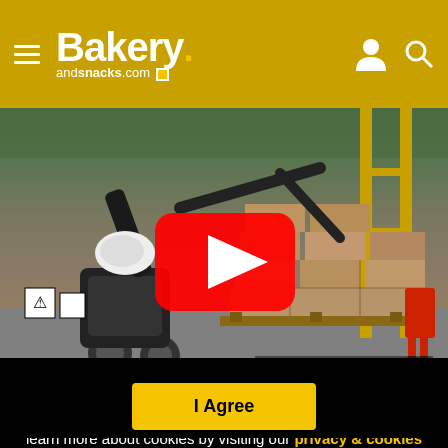Bakery andsnacks.com
[Figure (screenshot): Video thumbnail showing a Boston Dynamics robot in a warehouse stacking boxes on a pallet, with a YouTube play button overlay]
"The right product will benefit enormously from digital
This website uses cookies. By continuing to browse our website, you are agreeing to our use of cookies. You can learn more about cookies by visiting our privacy & cookies policy page.
I Agree